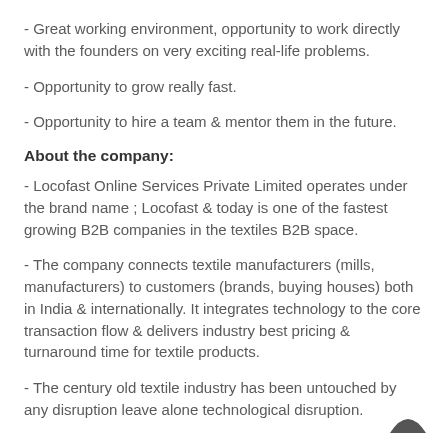- Great working environment, opportunity to work directly with the founders on very exciting real-life problems.
- Opportunity to grow really fast.
- Opportunity to hire a team & mentor them in the future.
About the company:
- Locofast Online Services Private Limited operates under the brand name ; Locofast & today is one of the fastest growing B2B companies in the textiles B2B space.
- The company connects textile manufacturers (mills, manufacturers) to customers (brands, buying houses) both in India & internationally. It integrates technology to the core transaction flow & delivers industry best pricing & turnaround time for textile products.
- The century old textile industry has been untouched by any disruption leave alone technological disruption.
[Figure (logo): Locofast brand logo mark - dark arch/umbrella shape]